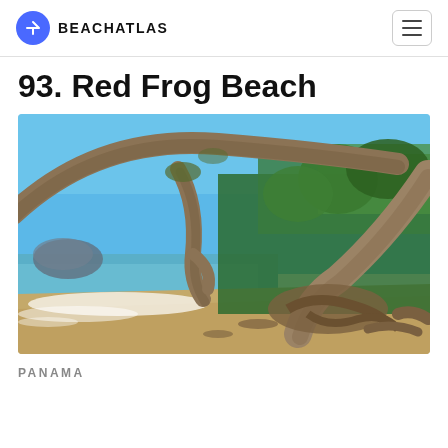BEACHATLAS
93. Red Frog Beach
[Figure (photo): Tropical beach scene with large driftwood tree trunks arching over a sandy shore, turquoise ocean waves lapping the beach, and dense green tropical forest in the background under a bright blue sky. Red Frog Beach, Panama.]
PANAMA